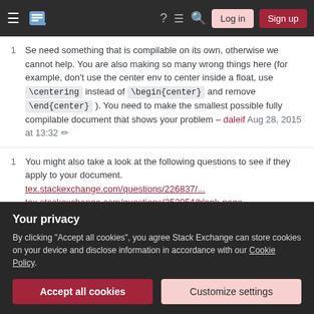Stack Exchange navigation header with Log in and Sign up buttons
Se need something that is compilable on its own, otherwise we cannot help. You are also making so many wrong things here (for example, don't use the center env to center inside a float, use \centering instead of \begin{center} and remove \end{center} ). You need to make the smallest possible fully compilable document that shows your problem – daleif Aug 28, 2015 at 13:32
You might also take a look at the following questions to see if they apply to your document. tex.stackexchange.com/questions/226837/... tex.stackexchange.com/questions/252054/blank-page-
Your privacy
By clicking "Accept all cookies", you agree Stack Exchange can store cookies on your device and disclose information in accordance with our Cookie Policy.